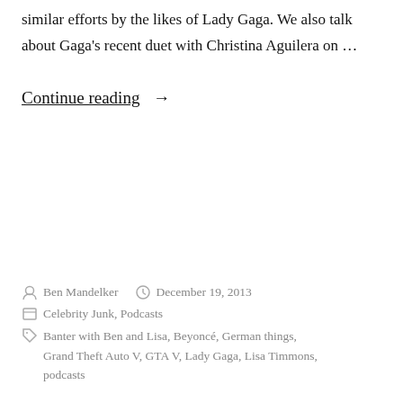similar efforts by the likes of Lady Gaga. We also talk about Gaga's recent duet with Christina Aguilera on …
Continue reading →
By Ben Mandelker  December 19, 2013  Celebrity Junk, Podcasts  Tags: Banter with Ben and Lisa, Beyoncé, German things, Grand Theft Auto V, GTA V, Lady Gaga, Lisa Timmons, podcasts